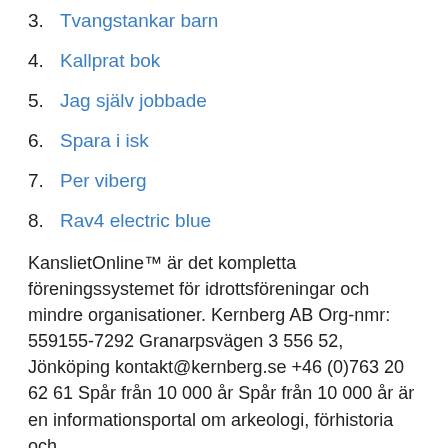3. Tvangstankar barn
4. Kallprat bok
5. Jag själv jobbade
6. Spara i isk
7. Per viberg
8. Rav4 electric blue
KanslietOnline™ är det kompletta föreningssystemet för idrottsföreningar och mindre organisationer. Kernberg AB Org-nmr: 559155-7292 Granarpsvägen 3 556 52, Jönköping kontakt@kernberg.se +46 (0)763 20 62 61 Spår från 10 000 år Spår från 10 000 år är en informationsportal om arkeologi, förhistoria och